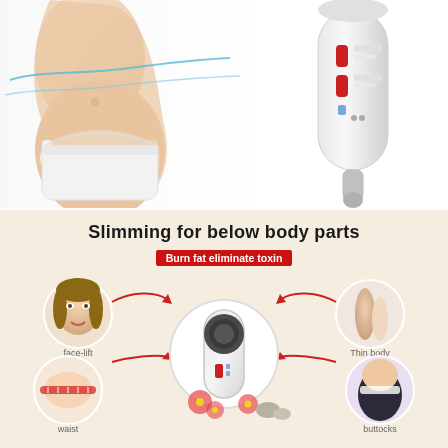[Figure (photo): Woman's torso in white underwear with blue line curves suggesting slimming, on white background. Top-left product photo.]
[Figure (photo): White handheld ultrasonic beauty slimming device with red indicator lights, on white background. Top-right product photo.]
[Figure (infographic): Infographic on beige/cream background titled 'Slimming for below body parts' with red badge 'Burn fat eliminate toxin'. Central image of round ultrasonic device surrounded by circular photos of body parts: face-lift (woman's face), thin body (arm/leg), waist (woman measuring waist), buttocks (knee/thigh area), and partial images at bottom. Red curved arrows connect each body part to center device.]